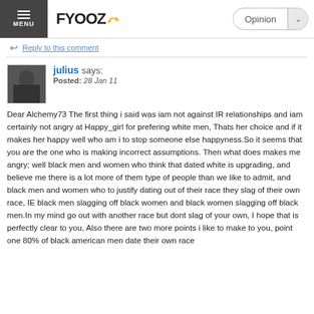MENU | FYOOZ | Opinion
Reply to this comment
julius says:
Posted: 28 Jan 11
Dear Alchemy73 The first thing i said was iam not against IR relationships and iam certainly not angry at Happy_girl for prefering white men, Thats her choice and if it makes her happy well who am i to stop someone else happyness.So it seems that you are the one who is making incorrect assumptions. Then what does makes me angry; well black men and women who think that dated white is upgrading, and believe me there is a lot more of them type of people than we like to admit, and black men and women who to justify dating out of their race they slag of their own race, IE black men slagging off black women and black women slagging off black men.In my mind go out with another race but dont slag of your own, I hope that is perfectly clear to you, Also there are two more points i like to make to you, point one 80% of black american men date their own race